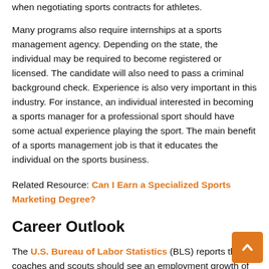when negotiating sports contracts for athletes.
Many programs also require internships at a sports management agency. Depending on the state, the individual may be required to become registered or licensed. The candidate will also need to pass a criminal background check. Experience is also very important in this industry. For instance, an individual interested in becoming a sports manager for a professional sport should have some actual experience playing the sport. The main benefit of a sports management job is that it educates the individual on the sports business.
Related Resource: Can I Earn a Specialized Sports Marketing Degree?
Career Outlook
The U.S. Bureau of Labor Statistics (BLS) reports that coaches and scouts should see an employment growth of 13 percent during the decade of 2016-2026. Agents and business managers of artists, performers and athletes are expected to